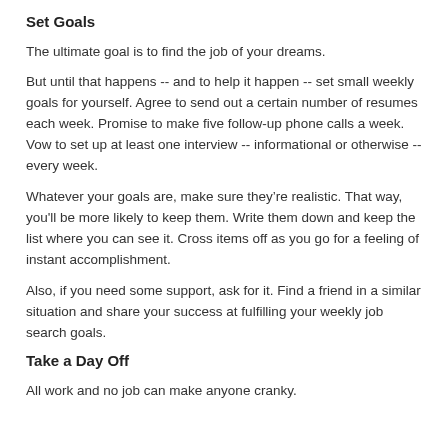Set Goals
The ultimate goal is to find the job of your dreams.
But until that happens -- and to help it happen -- set small weekly goals for yourself. Agree to send out a certain number of resumes each week. Promise to make five follow-up phone calls a week. Vow to set up at least one interview -- informational or otherwise -- every week.
Whatever your goals are, make sure they’re realistic. That way, you'll be more likely to keep them. Write them down and keep the list where you can see it. Cross items off as you go for a feeling of instant accomplishment.
Also, if you need some support, ask for it. Find a friend in a similar situation and share your success at fulfilling your weekly job search goals.
Take a Day Off
All work and no job can make anyone cranky.